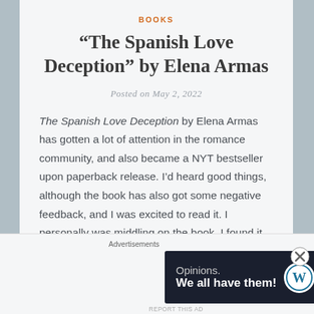BOOKS
“The Spanish Love Deception” by Elena Armas
Posted on May 2, 2022
The Spanish Love Deception by Elena Armas has gotten a lot of attention in the romance community, and also became a NYT bestseller upon paperback release. I’d heard good things, although the book has also got some negative feedback, and I was excited to read it. I personally was middling on the book, I found it to be fairly average but enjoyable.
Advertisements
[Figure (other): Advertisement banner: dark navy background with text 'Opinions. We all have them!' and WordPress and Now logos on right side.]